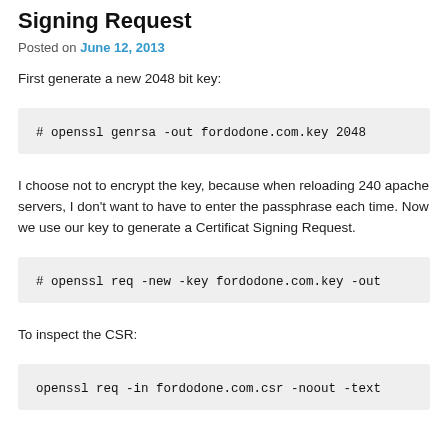Signing Request
Posted on June 12, 2013
First generate a new 2048 bit key:
# openssl genrsa -out fordodone.com.key 2048
I choose not to encrypt the key, because when reloading 240 apache servers, I don't want to have to enter the passphrase each time. Now we use our key to generate a Certificat Signing Request.
# openssl req -new -key fordodone.com.key -out
To inspect the CSR:
openssl req -in fordodone.com.csr -noout -text